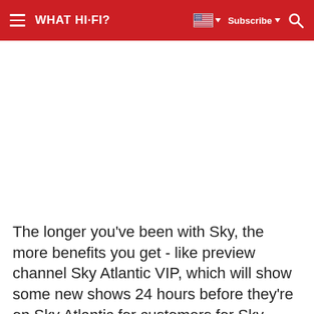WHAT HI-FI?
[Figure (other): Advertisement / blank white space area]
The longer you've been with Sky, the more benefits you get - like preview channel Sky Atlantic VIP, which will show some new shows 24 hours before they're on Sky Atlantic for customers for Sky Fiber, for Sky Q...